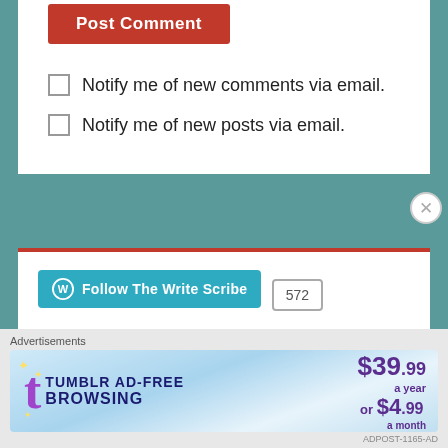[Figure (screenshot): Post Comment button (red/orange background, white text)]
Notify me of new comments via email.
Notify me of new posts via email.
[Figure (screenshot): Follow The Write Scribe WordPress button with 572 followers count]
FOLLOW BLOG VIA EMAIL
Enter your email address to follow this blog
Advertisements
[Figure (screenshot): Tumblr Ad-Free Browsing advertisement banner showing $39.99 a year or $4.99 a month]